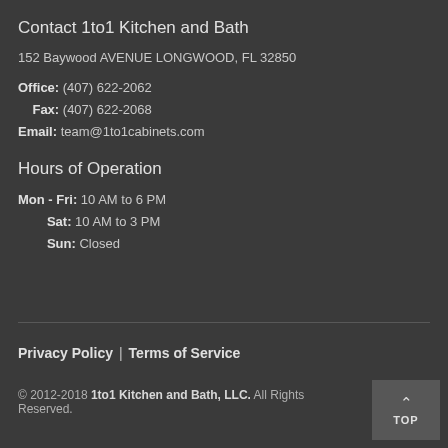Contact 1to1 Kitchen and Bath
152 Baywood AVENUE LONGWOOD, FL 32850
Office: (407) 622-2062
Fax: (407) 622-2068
Email: team@1to1cabinets.com
Hours of Operation
Mon - Fri: 10 AM to 6 PM
Sat: 10 AM to 3 PM
Sun: Closed
Privacy Policy | Terms of Service
© 2012-2018 1to1 Kitchen and Bath, LLC. All Rights Reserved.